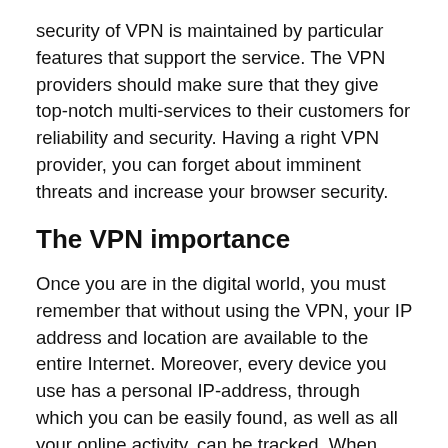security of VPN is maintained by particular features that support the service. The VPN providers should make sure that they give top-notch multi-services to their customers for reliability and security. Having a right VPN provider, you can forget about imminent threats and increase your browser security.
The VPN importance
Once you are in the digital world, you must remember that without using the VPN, your IP address and location are available to the entire Internet. Moreover, every device you use has a personal IP-address, through which you can be easily found, as well as all your online activity, can be tracked. When using VPN, you get different solutions including anonymity, maximum protection of your data, the ability to bypass geo-blocking, censorship and bothersome advertising. The virtual